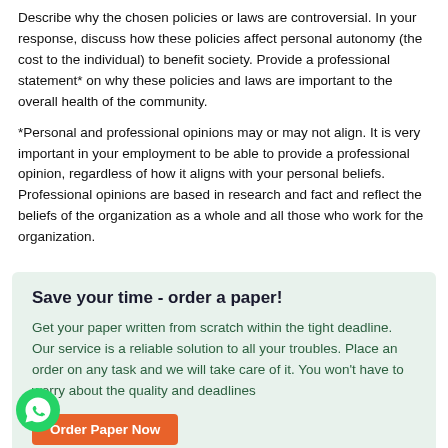Describe why the chosen policies or laws are controversial. In your response, discuss how these policies affect personal autonomy (the cost to the individual) to benefit society. Provide a professional statement* on why these policies and laws are important to the overall health of the community.
*Personal and professional opinions may or may not align. It is very important in your employment to be able to provide a professional opinion, regardless of how it aligns with your personal beliefs. Professional opinions are based in research and fact and reflect the beliefs of the organization as a whole and all those who work for the organization.
Save your time - order a paper!
Get your paper written from scratch within the tight deadline. Our service is a reliable solution to all your troubles. Place an order on any task and we will take care of it. You won't have to worry about the quality and deadlines
Order Paper Now